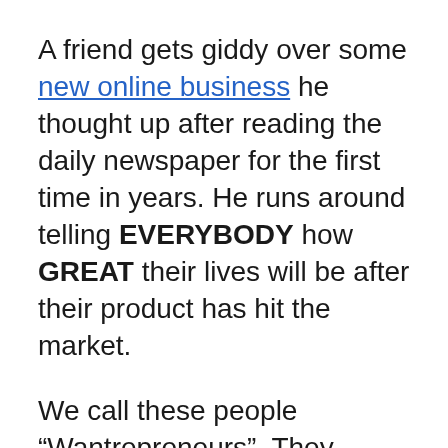A friend gets giddy over some new online business he thought up after reading the daily newspaper for the first time in years. He runs around telling EVERYBODY how GREAT their lives will be after their product has hit the market.
We call these people “Wantrepreneurs”. They spend THOUSANDS of dollars and YEARS of their lives trying to fool themselves into believing they’re entrepreneurs. They get business cards, make Facebook pages, start Tweeting